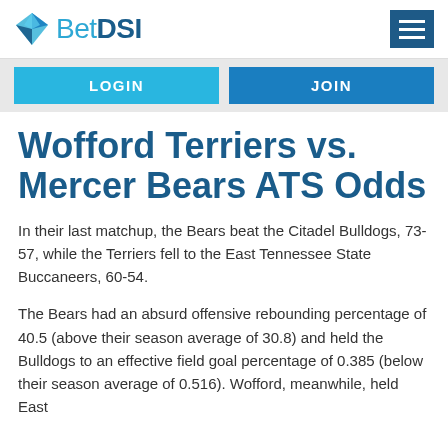BetDSI
LOGIN
JOIN
Wofford Terriers vs. Mercer Bears ATS Odds
In their last matchup, the Bears beat the Citadel Bulldogs, 73-57, while the Terriers fell to the East Tennessee State Buccaneers, 60-54.
The Bears had an absurd offensive rebounding percentage of 40.5 (above their season average of 30.8) and held the Bulldogs to an effective field goal percentage of 0.385 (below their season average of 0.516). Wofford, meanwhile, held East